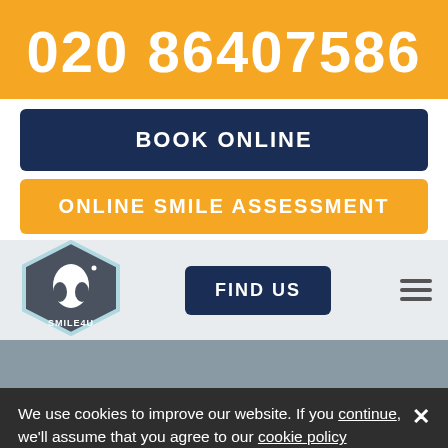020 86407586
BOOK ONLINE
ONLINE SMILE ASSESSMENT
[Figure (logo): Smile4U dental clinic hexagonal logo with tooth icon]
FIND US
We use cookies to improve our website. If you continue, we'll assume that you agree to our cookie policy